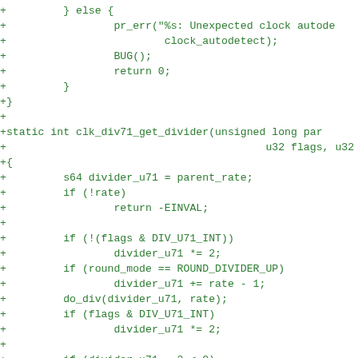code diff showing clk_div71_get_divider function addition in C